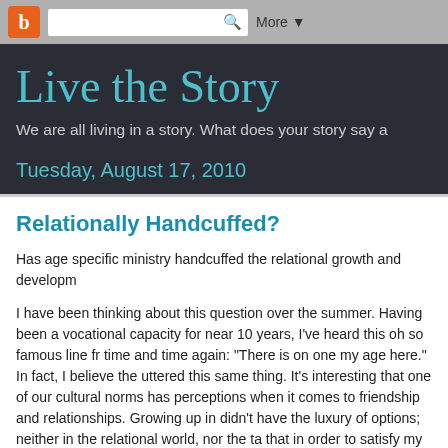Blogger navbar with logo, search box, and More button
Live the Story
We are all living in a story. What does your story say a
Tuesday, August 17, 2010
Relationally Handcuffed?
Has age specific ministry handcuffed the relational growth and developm
I have been thinking about this question over the summer. Having been a vocational capacity for near 10 years, I've heard this oh so famous line fr time and time again: "There is on one my age here." In fact, I believe the uttered this same thing. It's interesting that one of our cultural norms has perceptions when it comes to friendship and relationships. Growing up in didn't have the luxury of options; neither in the relational world, nor the ta that in order to satisfy my longing for community, I must be willing to enga perhaps would have avoided had I had another option. At family gatherin